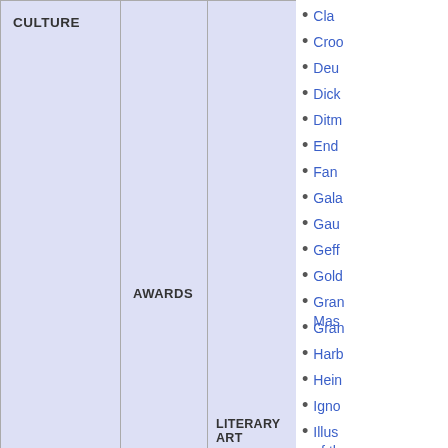| CULTURE |  |  |
| --- | --- | --- |
|  |  |  |
|  | AWARDS |  |
|  |  | LITERARY ART |
Cla...
Croc...
Deu...
Dick...
Ditm...
End...
Fan...
Gala...
Gau...
Geff...
Gold...
Gran... Mas...
Gran...
Harb...
Hein...
Igno...
Illus... of th...